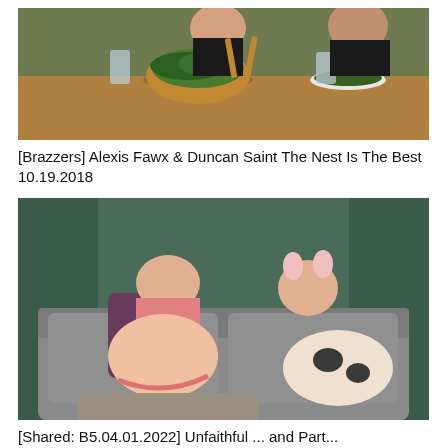[Figure (photo): Two people sitting at a dining table with a salad bowl and wooden utensils; woman in black bra top, muscular man in black t-shirt]
[Brazzers] Alexis Fawx & Duncan Saint The Nest Is The Best 10.19.2018
[Figure (photo): Two blonde women on a gray couch; one in pink top with tattoos, one wearing animal costume accessories]
[Shared: B5.04.01.2022] Unfaithful ... and Part...